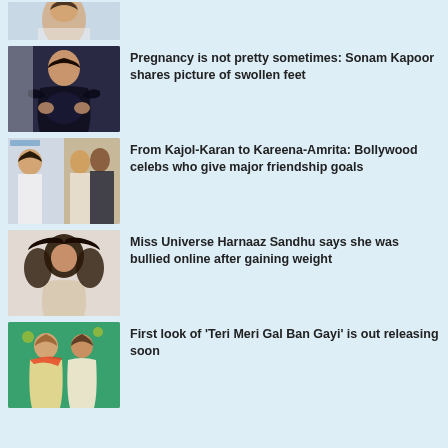[Figure (photo): Partial celebrity photo at top of page (cropped)]
[Figure (photo): Sonam Kapoor in black outfit holding pregnant belly]
Pregnancy is not pretty sometimes: Sonam Kapoor shares picture of swollen feet
[Figure (photo): Collage of Bollywood celebrity friendship pairs - Kajol-Karan and Kareena-Amrita]
From Kajol-Karan to Kareena-Amrita: Bollywood celebs who give major friendship goals
[Figure (photo): Miss Universe Harnaaz Sandhu posing in traditional outfit]
Miss Universe Harnaaz Sandhu says she was bullied online after gaining weight
[Figure (photo): Movie poster for Teri Meri Gal Ban Gayi with couple in wedding attire]
First look of 'Teri Meri Gal Ban Gayi' is out releasing soon